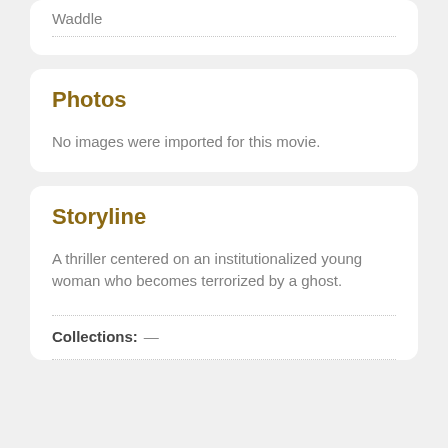Waddle
Photos
No images were imported for this movie.
Storyline
A thriller centered on an institutionalized young woman who becomes terrorized by a ghost.
Collections: —